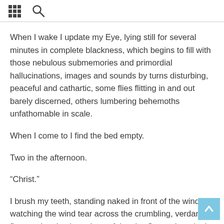[grid icon] [search icon]
When I wake I update my Eye, lying still for several minutes in complete blackness, which begins to fill with those nebulous submemories and primordial hallucinations, images and sounds by turns disturbing, peaceful and cathartic, some flies flitting in and out barely discerned, others lumbering behemoths unfathomable in scale.
When I come to I find the bed empty.
Two in the afternoon.
“Christ.”
I brush my teeth, standing naked in front of the window, watching the wind tear across the crumbling, verdant flyovers looping in and out of the city. Somewhere in the distance there are fires: the horizon underlined in brown.